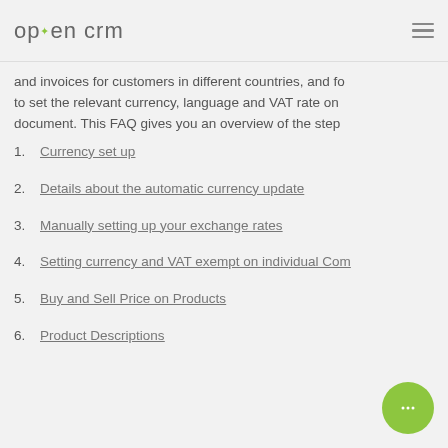opencrm
and invoices for customers in different countries, and fo to set the relevant currency, language and VAT rate on document. This FAQ gives you an overview of the step
1. Currency set up
2. Details about the automatic currency update
3. Manually setting up your exchange rates
4. Setting currency and VAT exempt on individual Com
5. Buy and Sell Price on Products
6. Product Descriptions